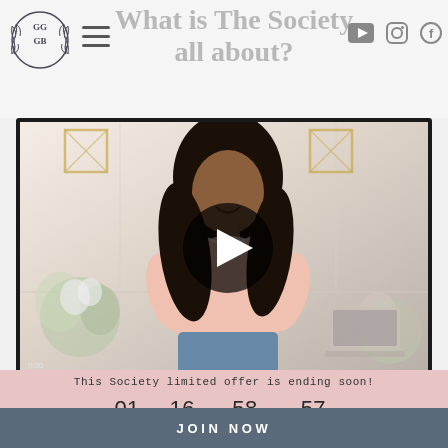GGGB logo, hamburger menu, YouTube, Instagram, Facebook icons
What is The Society all about?
[Figure (screenshot): Video thumbnail showing a smiling woman in a pink top in a bright white room with flowers and decorative elements, with a large play button overlay]
This Society limited offer is ending soon!
01 Days  16 Hours  58 Minutes  57 Seconds
JOIN NOW